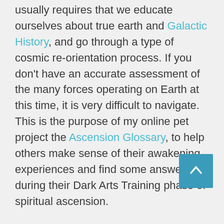usually requires that we educate ourselves about true earth and Galactic History, and go through a type of cosmic re-orientation process. If you don't have an accurate assessment of the many forces operating on Earth at this time, it is very difficult to navigate. This is the purpose of my online pet project the Ascension Glossary, to help others make sense of their awakening experiences and find some answers during their Dark Arts Training phase of spiritual ascension.
One of the most common reactions is for people to seek an outside quick fix, to have entities removed or implants extracted by a third party. There may be times when this can be helpful, but ultimately, comprehending these dark forces and doing it your self is the most beneficial. Until you build your...